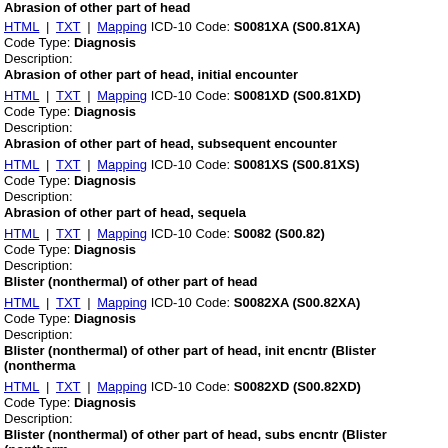Abrasion of other part of head
HTML | TXT | Mapping ICD-10 Code: S0081XA (S00.81XA)
Code Type: Diagnosis
Description:
Abrasion of other part of head, initial encounter
HTML | TXT | Mapping ICD-10 Code: S0081XD (S00.81XD)
Code Type: Diagnosis
Description:
Abrasion of other part of head, subsequent encounter
HTML | TXT | Mapping ICD-10 Code: S0081XS (S00.81XS)
Code Type: Diagnosis
Description:
Abrasion of other part of head, sequela
HTML | TXT | Mapping ICD-10 Code: S0082 (S00.82)
Code Type: Diagnosis
Description:
Blister (nonthermal) of other part of head
HTML | TXT | Mapping ICD-10 Code: S0082XA (S00.82XA)
Code Type: Diagnosis
Description:
Blister (nonthermal) of other part of head, init encntr (Blister (nontherma
HTML | TXT | Mapping ICD-10 Code: S0082XD (S00.82XD)
Code Type: Diagnosis
Description:
Blister (nonthermal) of other part of head, subs encntr (Blister (nontherm